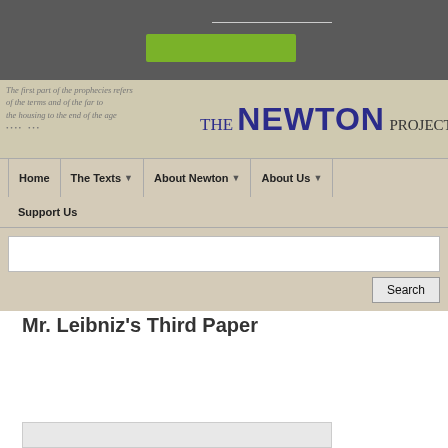[Figure (screenshot): Top dark gray bar with a horizontal line and a green button]
[Figure (logo): The Newton Project website header banner with cursive manuscript text background and THE NEWTON PROJECT logo text]
Home | The Texts ▼ | About Newton ▼ | About Us ▼ | Support Us
[Figure (screenshot): Search input field and Search button]
Mr. Leibniz's Third Paper